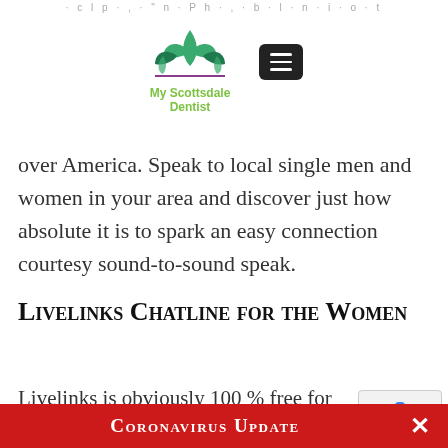· c l p · , · " n · P h · , · b · l · n · i · o · t
[Figure (logo): My Scottsdale Dentist logo with green lotus/leaf icon and green text, with a dark hamburger menu button to the right]
over America. Speak to local single men and women in your area and discover just how absolute it is to spark an easy connection courtesy sound-to-sound speak.
Livelinks Chatline for the Women
Livelinks is obviously 100 % free for women. If you've struggled and work on si…
Coronavirus Update ×